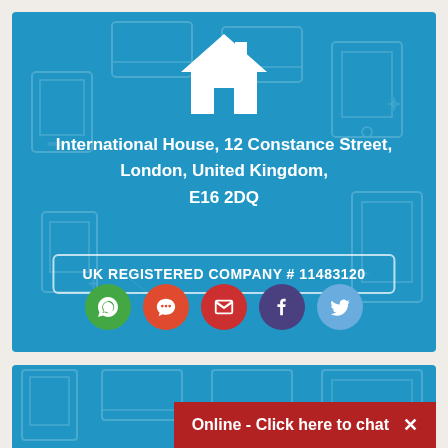[Figure (illustration): House icon in white on blue background with faint outline icons of electronic devices]
International House, 12 Constance Street,
London, United Kingdom,
E16 2DQ
UK REGISTERED COMPANY # 11483120
[Figure (infographic): Five circular social media/contact icon buttons: WhatsApp (green), Chat (orange-red), Email (red), Facebook (dark purple), Twitter (light blue)]
Online - Click here to chat